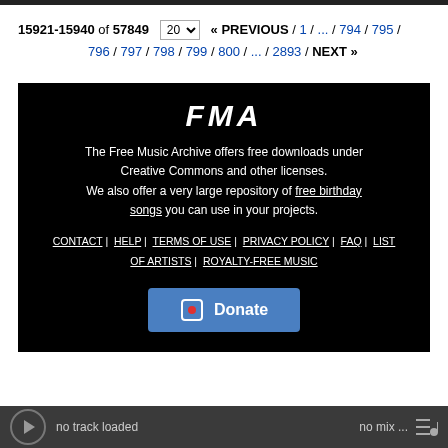15921-15940 of 57849   20 ▾  « PREVIOUS / 1 / ... / 794 / 795 / 796 / 797 / 798 / 799 / 800 / ... / 2893 / NEXT »
[Figure (screenshot): FMA (Free Music Archive) footer section on black background with logo, description text, navigation links, and Donate button]
no track loaded    no mix ...